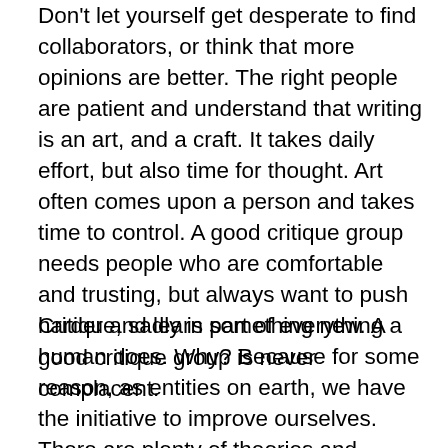Don't let yourself get desperate to find collaborators, or think that more opinions are better. The right people are patient and understand that writing is an art, and a craft. It takes daily effort, but also time for thought. Art often comes upon a person and takes time to control. A good critique group needs people who are comfortable and trusting, but always want to push harder and learn something new. A good critique group is never complacent.
Critique, sadly is part of everything a human does. Why? Because for some reason, as entities on earth, we have the initiative to improve ourselves. There are plenty of theories and beliefs on this topic, but self-improvement is a consensus. Being part of a critique group prepares a writer in many ways for the world of criticisms to come after the work is done. Healthy critique is three fold: being